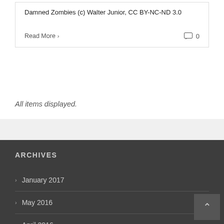Damned Zombies (c) Walter Junior, CC BY-NC-ND 3.0
Read More ›   0
All items displayed.
ARCHIVES
January 2017
May 2016
April 2016